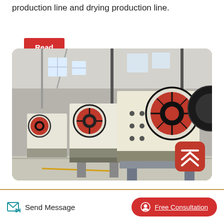production line and drying production line.
Read More
[Figure (photo): Industrial jaw crushers lined up in a factory/warehouse setting. Multiple large white machines with red and black flywheels visible. Machines are on metal bases/frames inside a large industrial building with overhead lighting and steel framework visible.]
Send Message
Free Consultation